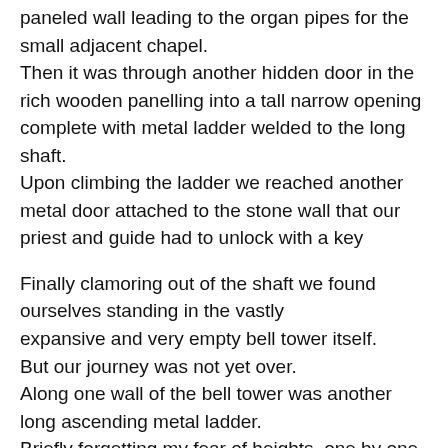paneled wall leading to the organ pipes for the small adjacent chapel. Then it was through another hidden door in the rich wooden panelling into a tall narrow opening complete with metal ladder welded to the long shaft. Upon climbing the ladder we reached another metal door attached to the stone wall that our priest and guide had to unlock with a key
Finally clamoring out of the shaft we found ourselves standing in the vastly expansive and very empty bell tower itself. But our journey was not yet over. Along one wall of the bell tower was another long ascending metal ladder. Briefly forgetting my fear of heights, one by one, we began